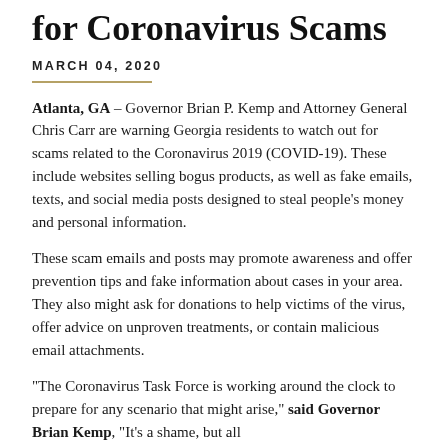for Coronavirus Scams
MARCH 04, 2020
Atlanta, GA – Governor Brian P. Kemp and Attorney General Chris Carr are warning Georgia residents to watch out for scams related to the Coronavirus 2019 (COVID-19). These include websites selling bogus products, as well as fake emails, texts, and social media posts designed to steal people's money and personal information.
These scam emails and posts may promote awareness and offer prevention tips and fake information about cases in your area. They also might ask for donations to help victims of the virus, offer advice on unproven treatments, or contain malicious email attachments.
“The Coronavirus Task Force is working around the clock to prepare for any scenario that might arise,” said Governor Brian Kemp. “It’s a shame, but all